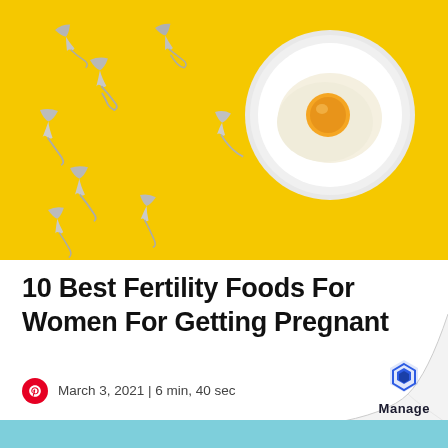[Figure (photo): Yellow background with silver spoons arranged like sperm cells swimming toward a white plate containing a fried egg, representing fertility concept.]
10 Best Fertility Foods For Women For Getting Pregnant
March 3, 2021 | 6 min, 40 sec